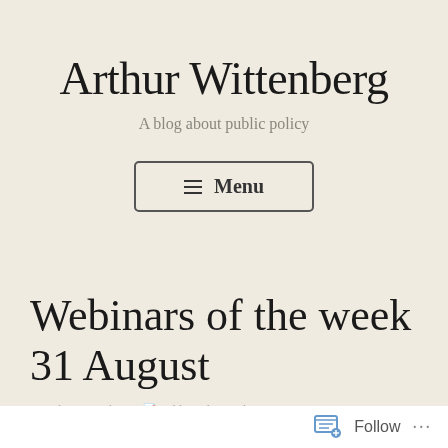Arthur Wittenberg
A blog about public policy
[Figure (other): Menu button with hamburger icon and text 'Menu']
Webinars of the week 31 August
Arthur Wittenberg   Public Policy Webinars
Follow ...